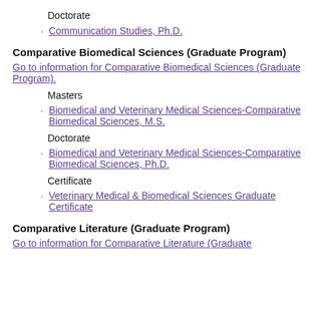Doctorate
Communication Studies, Ph.D.
Comparative Biomedical Sciences (Graduate Program)
Go to information for Comparative Biomedical Sciences (Graduate Program).
Masters
Biomedical and Veterinary Medical Sciences-Comparative Biomedical Sciences, M.S.
Doctorate
Biomedical and Veterinary Medical Sciences-Comparative Biomedical Sciences, Ph.D.
Certificate
Veterinary Medical & Biomedical Sciences Graduate Certificate
Comparative Literature (Graduate Program)
Go to information for Comparative Literature (Graduate